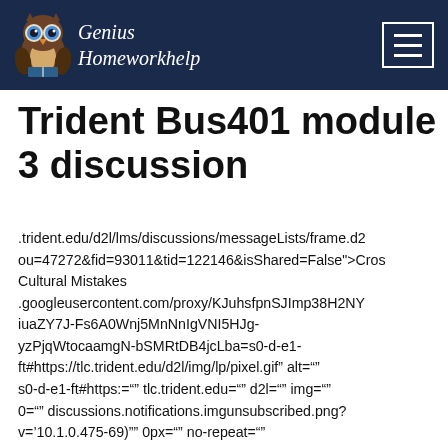Genius Homeworkhelp
Trident Bus401 module 3 discussion
.trident.edu/d2l/lms/discussions/messageLists/frame.d2 ou=47272&fid=93011&tid=122146&isShared=False">Cros Cultural Mistakes .googleusercontent.com/proxy/KJuhsfpnSJImp38H2NY iuaZY7J-Fs6A0Wnj5MnNnIgVNI5HJg-yzPjqWtocaamgN-bSMRtDB4jcLba=s0-d-e1-ft#https://tlc.trident.edu/d2l/img/lp/pixel.gif” alt="" s0-d-e1-ft#https:="" tlc.trident.edu="" d2l="" img="" 0="" discussions.notifications.imgunsubscribed.png?v=’10.1.0.475-69)”” 0px="" no-repeat=""